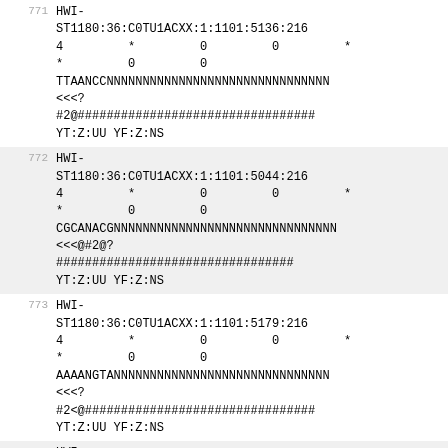771	HWI-ST1180:36:C0TU1ACXX:1:1101:5136:216
4	*	0	0	*
*	0	0
TTAANCCNNNNNNNNNNNNNNNNNNNNNNNNNNNNNNN
<<<?
#2@#################################
YT:Z:UU YF:Z:NS
772	HWI-ST1180:36:C0TU1ACXX:1:1101:5044:216
4	*	0	0	*
*	0	0
CGCANACGNNNNNNNNNNNNNNNNNNNNNNNNNNNNNN
<<<@#2@?
#################################
YT:Z:UU YF:Z:NS
773	HWI-ST1180:36:C0TU1ACXX:1:1101:5179:216
4	*	0	0	*
*	0	0
AAAANGTANNNNNNNNNNNNNNNNNNNNNNNNNNNNNN
<<<?
#2<@################################
YT:Z:UU YF:Z:NS
774	HWI-ST1180:36:C0TU1ACXX:1:1101:5082:211
4	*	0	0	*
*	0	0
GCTTNCCTNNNNNNNNNNNNNNNNNNNNNNNNNNNNNN
<<<<?#2@?
#################################
YT:Z:UU YF:Z:NS